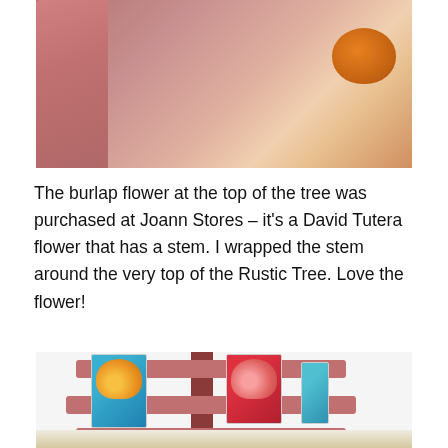[Figure (photo): Close-up photo of a rustic pink/red painted wooden tree or craft item, with a pumpkin visible in the background on a table surface.]
The burlap flower at the top of the tree was purchased at Joann Stores – it's a David Tutera flower that has a stem. I wrapped the stem around the very top of the Rustic Tree. Love the flower!
[Figure (photo): Photo of a rustic pink/red painted wooden tree display stand with Mickey Mouse and Minnie Mouse themed cards or bookmarks clipped to the horizontal branches.]